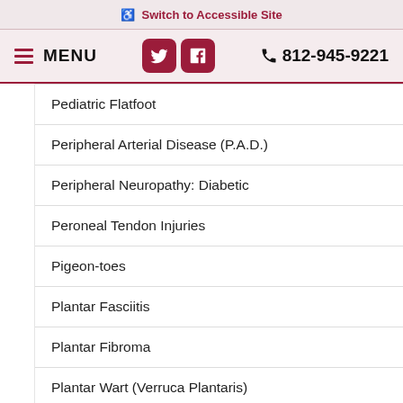♿ Switch to Accessible Site
≡ MENU  [Twitter] [Facebook]  📞 812-945-9221
Pediatric Flatfoot
Peripheral Arterial Disease (P.A.D.)
Peripheral Neuropathy: Diabetic
Peroneal Tendon Injuries
Pigeon-toes
Plantar Fasciitis
Plantar Fibroma
Plantar Wart (Verruca Plantaris)
Posterior Tibial Tendon Dysfunction (PTTD)